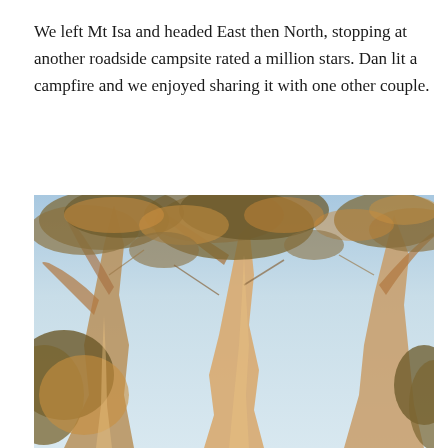We left Mt Isa and headed East then North, stopping at another roadside campsite rated a million stars. Dan lit a campfire and we enjoyed sharing it with one other couple.
[Figure (photo): Photograph of eucalyptus trees with golden-orange foliage and pale white branches against a clear light blue sky, taken from below looking upward. The trees have sparse leaves and slender trunks typical of Australian outback gum trees.]